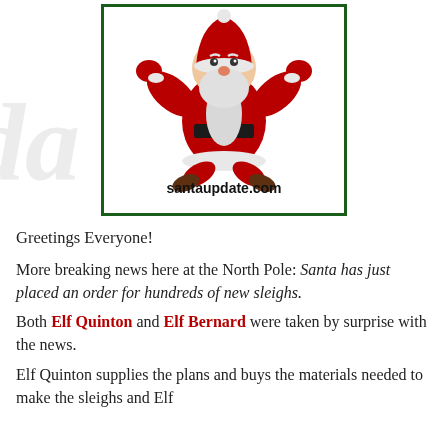[Figure (illustration): Cartoon Santa Claus with arms raised, wearing red suit and black belt, inside a dark green bordered box with 'santaupdate.com' text at the bottom]
Greetings Everyone!
More breaking news here at the North Pole: Santa has just placed an order for hundreds of new sleighs.
Both Elf Quinton and Elf Bernard were taken by surprise with the news.
Elf Quinton supplies the plans and buys the materials needed to make the sleighs and Elf Bernard will oversee...